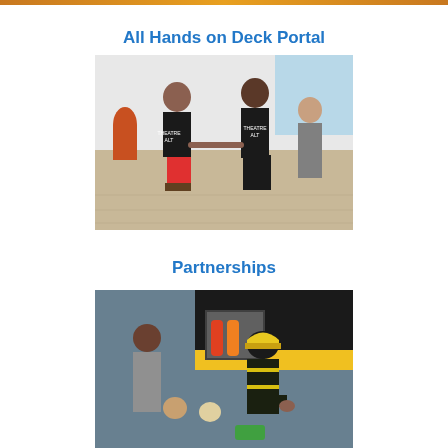[Figure (photo): Partial orange/yellow banner at top of page]
All Hands on Deck Portal
[Figure (photo): Two children in black Theatre ALT t-shirts holding hands in a gymnasium/dance studio, with other students in the background]
Partnerships
[Figure (photo): A firefighter in full gear bending down toward children near a fire truck, with an adult woman standing nearby]